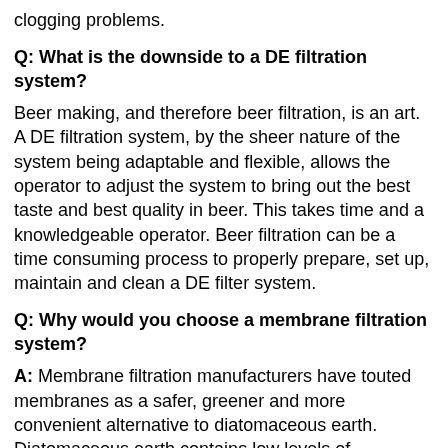clogging problems.
Q: What is the downside to a DE filtration system?
Beer making, and therefore beer filtration, is an art. A DE filtration system, by the sheer nature of the system being adaptable and flexible, allows the operator to adjust the system to bring out the best taste and best quality in beer. This takes time and a knowledgeable operator. Beer filtration can be a time consuming process to properly prepare, set up, maintain and clean a DE filter system.
Q: Why would you choose a membrane filtration system?
A: Membrane filtration manufacturers have touted membranes as a safer, greener and more convenient alternative to diatomaceous earth. Diatomaceous earth contains low levels of crystalline silica simple control procedures eliminate any potential health issues. A good amount of “spent cake” is produced when using DE.